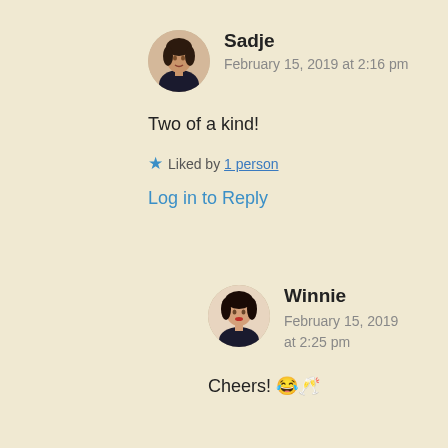Sadje
February 15, 2019 at 2:16 pm
Two of a kind!
★ Liked by 1 person
Log in to Reply
Winnie
February 15, 2019 at 2:25 pm
Cheers! 😂🥂